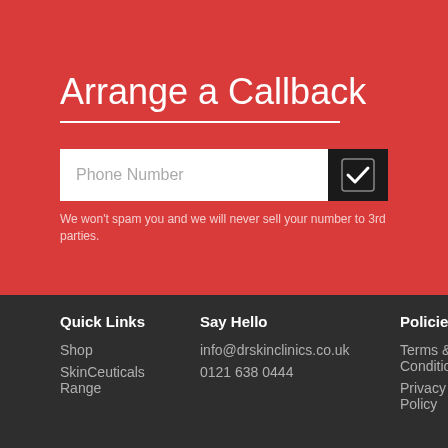Arrange a Callback
Phone Number
We won't spam you and we will never sell your number to 3rd parties.
Quick Links
Say Hello
Policies
Shop
info@drskinclinics.co.uk
Terms & Conditions
SkinCeuticals Range
0121 638 0444
Privacy Policy